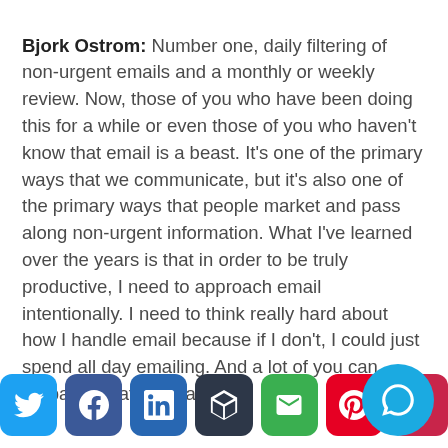Bjork Ostrom: Number one, daily filtering of non-urgent emails and a monthly or weekly review. Now, those of you who have been doing this for a while or even those of you who haven't know that email is a beast. It's one of the primary ways that we communicate, but it's also one of the primary ways that people market and pass along non-urgent information. What I've learned over the years is that in order to be truly productive, I need to approach email intentionally. I need to think really hard about how I handle email because if I don't, I could just spend all day emailing. And a lot of you can probably relate to that.
[Figure (other): Social sharing buttons row: Twitter (blue), Facebook (dark blue), LinkedIn (blue), Buffer (dark gray), Email (green), Pinterest (red), Phone/partial (red). Plus a circular chat bubble button (cyan) overlapping the bottom-right.]